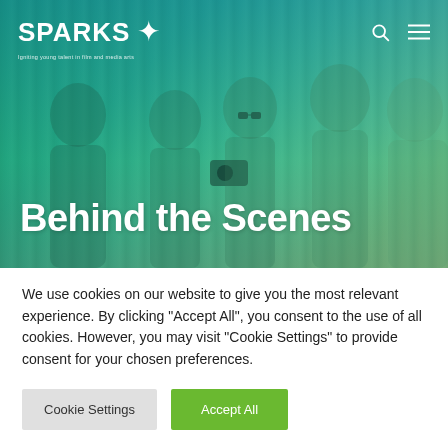[Figure (photo): Hero image showing children looking at a video camera, with a teal/green color overlay. Navigation bar with SPARKS logo, search icon, and hamburger menu visible at top.]
Behind the Scenes
We use cookies on our website to give you the most relevant experience. By clicking "Accept All", you consent to the use of all cookies. However, you may visit "Cookie Settings" to provide consent for your chosen preferences.
Cookie Settings
Accept All